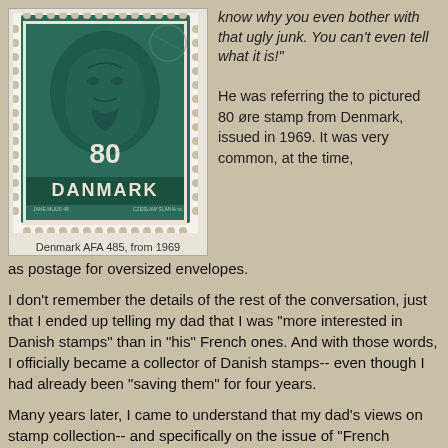[Figure (photo): A green Danish postage stamp showing a portrait face, denomination 80, inscribed DANMARK, with perforated edges. Credit lines: JANE MUUS 48 and CZERSAW SLANIA.]
Denmark AFA 485, from 1969
know why you even bother with that ugly junk. You can't even tell what it is!"
He was referring the to pictured 80 øre stamp from Denmark, issued in 1969. It was very common, at the time, as postage for oversized envelopes.
I don't remember the details of the rest of the conversation, just that I ended up telling my dad that I was "more interested in Danish stamps" than in "his" French ones. And with those words, I officially became a collector of Danish stamps-- even though I had already been "saving them" for four years.
Many years later, I came to understand that my dad's views on stamp collection-- and specifically on the issue of "French